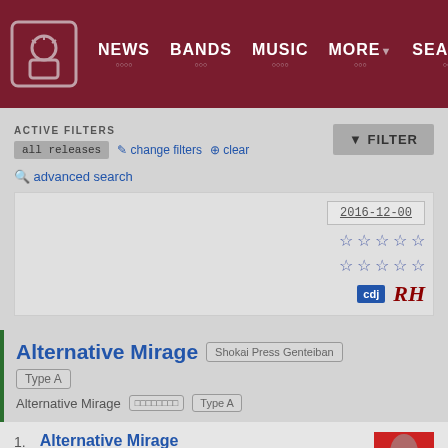NEWS BANDS MUSIC MORE SEARCH
ACTIVE FILTERS
all releases  change filters  clear
FILTER
advanced search
2016-12-00
cdj  RH
Alternative Mirage  Shokai Press Genteiban  Type A
Alternative Mirage  [kanji]  Type A
1. Alternative Mirage
▲ TOP